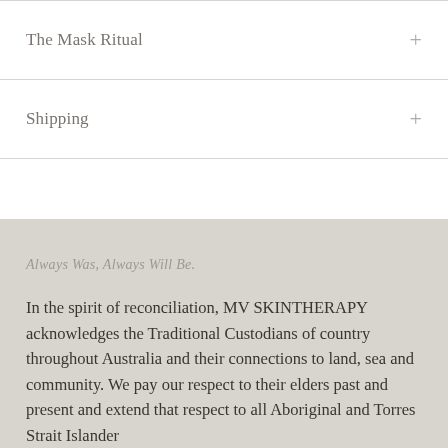The Mask Ritual
Shipping
Always Was, Always Will Be.
In the spirit of reconciliation, MV SKINTHERAPY acknowledges the Traditional Custodians of country throughout Australia and their connections to land, sea and community. We pay our respect to their elders past and present and extend that respect to all Aboriginal and Torres Strait Islander